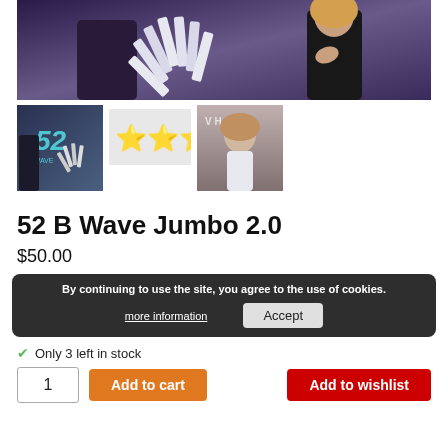[Figure (photo): Main product photo showing a magician fanning playing cards toward a woman against a purple/blue background]
[Figure (photo): Thumbnail of magician with playing cards and '52 B Wave' text overlay]
[Figure (other): Thumbnail showing three gold stars rating on light grey background]
[Figure (photo): Thumbnail of a woman with long hair in white clothing against grey background]
52 B Wave Jumbo 2.0
$50.00
By continuing to use the site, you agree to the use of cookies.
more information   Accept
Only 3 left in stock
1   Add to cart   Add to wishlist